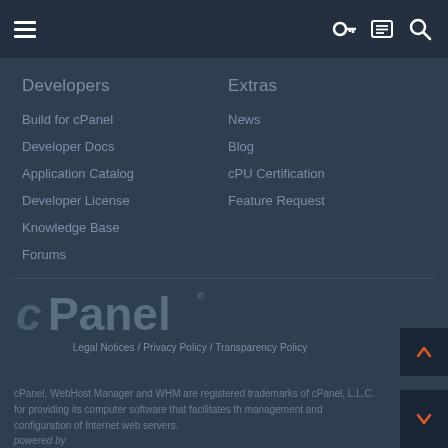Navigation bar with hamburger menu, key icon, list icon, and search icon
Developers
Build for cPanel
Developer Docs
Application Catalog
Developer License
Knowledge Base
Forums
Extras
News
Blog
cPU Certification
Feature Request
[Figure (logo): cPanel logo in gray/dark tones]
Legal Notices / Privacy Policy / Transparency Policy
cPanel, WebHost Manager and WHM are registered trademarks of cPanel, L.L.C. for providing its computer software that facilitates the management and configuration of Internet web servers. powered by